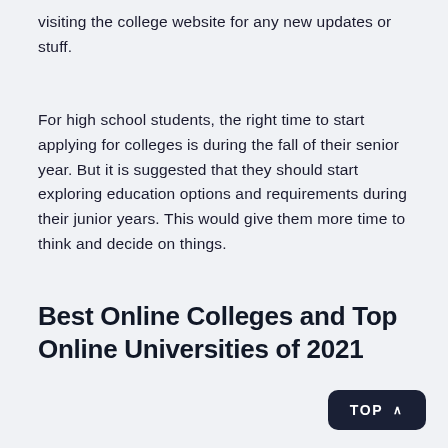visiting the college website for any new updates or stuff.
For high school students, the right time to start applying for colleges is during the fall of their senior year. But it is suggested that they should start exploring education options and requirements during their junior years. This would give them more time to think and decide on things.
Best Online Colleges and Top Online Universities of 2021